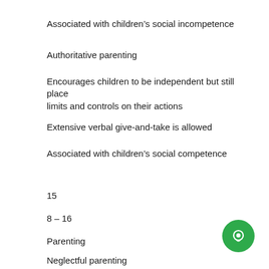Associated with children's social incompetence
Authoritative parenting
Encourages children to be independent but still place limits and controls on their actions
Extensive verbal give-and-take is allowed
Associated with children's social competence
15
8 – 16
Parenting
Neglectful parenting